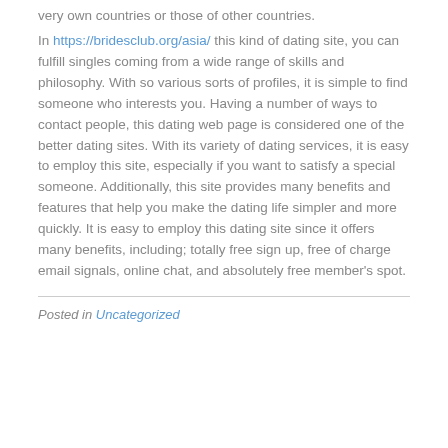very own countries or those of other countries.
In https://bridesclub.org/asia/ this kind of dating site, you can fulfill singles coming from a wide range of skills and philosophy. With so various sorts of profiles, it is simple to find someone who interests you. Having a number of ways to contact people, this dating web page is considered one of the better dating sites. With its variety of dating services, it is easy to employ this site, especially if you want to satisfy a special someone. Additionally, this site provides many benefits and features that help you make the dating life simpler and more quickly. It is easy to employ this dating site since it offers many benefits, including; totally free sign up, free of charge email signals, online chat, and absolutely free member's spot.
Posted in Uncategorized